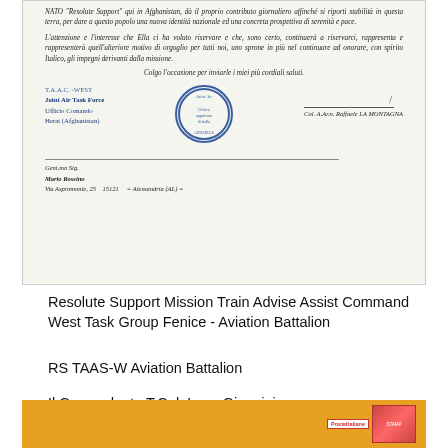[Figure (photo): Scanned letter in Italian with official stamp, signature, letterhead 'T.A.A.C. -WEST Joint Air Task Force Ufficio Comando Herat (Afghanistan)', and address block for Mario Rossino, Via Aspromonte 25, 15121 Alessandria (AL)]
Resolute Support Mission Train Advise Assist Command West Task Group Fenice - Aviation Battalion
RS TAAS-W Aviation Battalion
Il Comandante T.Col. Luca Giannini
annullo "Isaf Afghanistan Herat 01.10.15"
[Figure (photo): Bottom portion of yellow envelope with postal stamp/label]